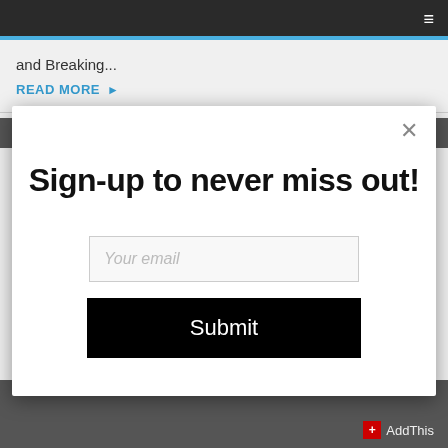Navigation bar
and Breaking...
READ MORE ▶
Sign-up to never miss out!
Your email
Submit
AddThis